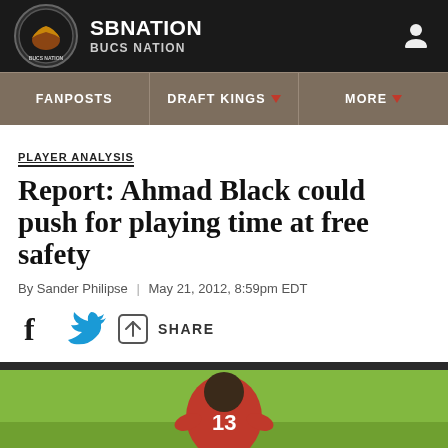SB NATION — BUCS NATION
FANPOSTS | DRAFT KINGS | MORE
PLAYER ANALYSIS
Report: Ahmad Black could push for playing time at free safety
By Sander Philipse | May 21, 2012, 8:59pm EDT
[Figure (photo): Football player in red jersey on green field at practice]
SHARE